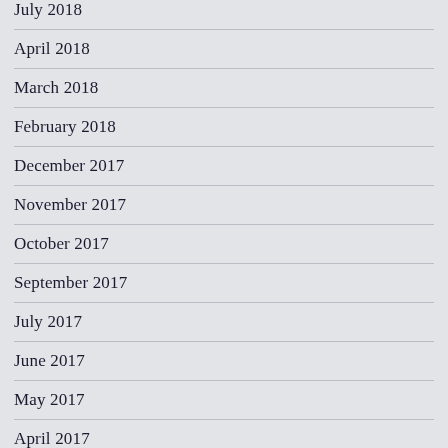July 2018
April 2018
March 2018
February 2018
December 2017
November 2017
October 2017
September 2017
July 2017
June 2017
May 2017
April 2017